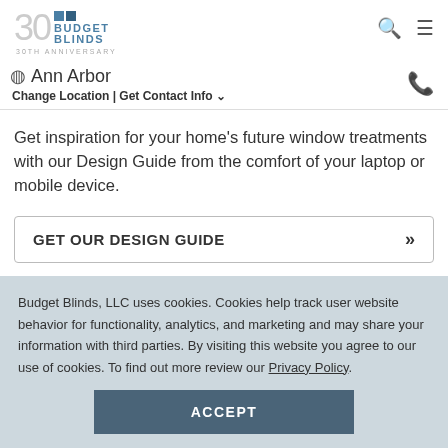[Figure (logo): Budget Blinds 30th Anniversary logo with teal squares and grey 30 numeral]
Ann Arbor
Change Location | Get Contact Info
Get inspiration for your home's future window treatments with our Design Guide from the comfort of your laptop or mobile device.
GET OUR DESIGN GUIDE
Budget Blinds, LLC uses cookies. Cookies help track user website behavior for functionality, analytics, and marketing and may share your information with third parties. By visiting this website you agree to our use of cookies. To find out more review our Privacy Policy.
ACCEPT